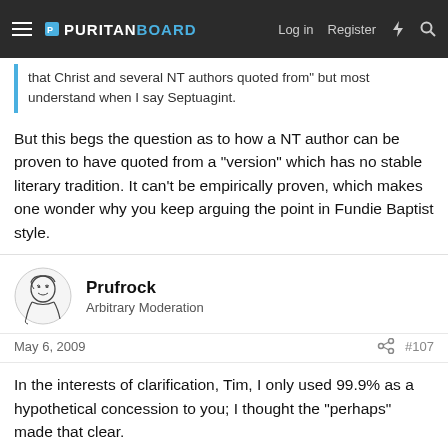PURITAN BOARD — Log in  Register
that Christ and several NT authors quoted from" but most understand when I say Septuagint.
But this begs the question as to how a NT author can be proven to have quoted from a "version" which has no stable literary tradition. It can't be empirically proven, which makes one wonder why you keep arguing the point in Fundie Baptist style.
Prufrock
Arbitrary Moderation
May 6, 2009
#107
In the interests of clarification, Tim, I only used 99.9% as a hypothetical concession to you; I thought the "perhaps" made that clear.